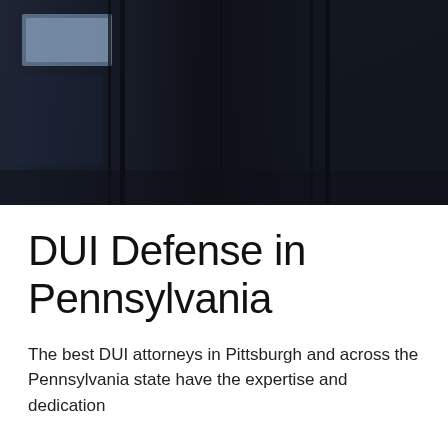[Figure (photo): Dark moody background photo showing a dimly lit interior scene — dark navy/black tones with a light blue rectangular shape visible in the upper left area, suggesting a window or sign with ambient lighting.]
DUI Defense in Pennsylvania
The best DUI attorneys in Pittsburgh and across the Pennsylvania state have the expertise and dedication...